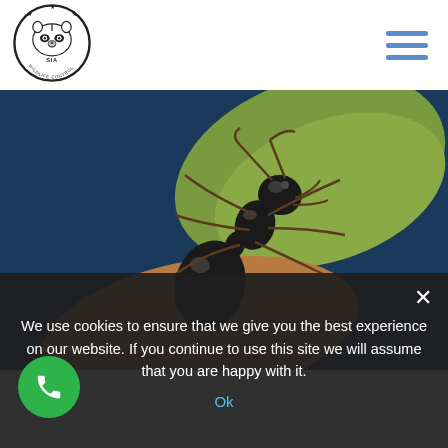[Figure (logo): SIA Wildlife Control circular logo with raccoon face in center and stars around the border]
[Figure (photo): Macro close-up photograph of a black ant on a green leaf against a dark blue background]
We use cookies to ensure that we give you the best experience on our website. If you continue to use this site we will assume that you are happy with it.
Ok